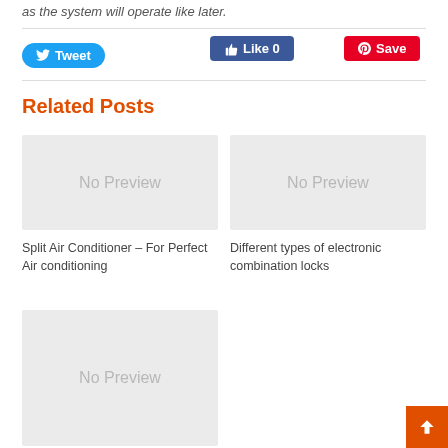as the system will operate like later.
[Figure (screenshot): Social share buttons: Tweet (blue rounded), Like 0 (Facebook blue), Save (Pinterest red)]
Related Posts
[Figure (photo): No Preview image placeholder for Split Air Conditioner post]
Split Air Conditioner – For Perfect Air conditioning
[Figure (photo): No Preview image placeholder for Different types of electronic combination locks post]
Different types of electronic combination locks
[Figure (photo): No Preview image placeholder for third related post]